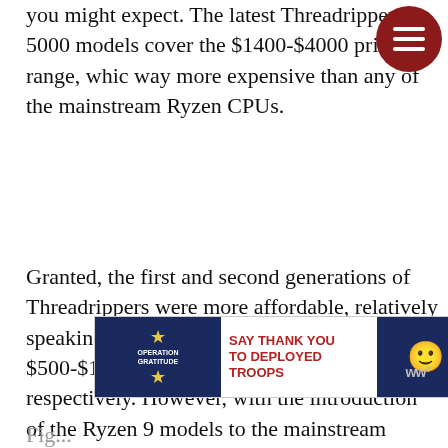you might expect. The latest Threadripper 5000 models cover the $1400-$4000 price range, which is way more expensive than any of the mainstream Ryzen CPUs.
[Figure (other): Dark red circular hamburger menu button with three horizontal white lines]
Granted, the first and second generations of Threadrippers were more affordable, relatively speaking, and they could be found in the $500-$1000 and the $650-$1800 price ranges, respectively. However, with the introduction of the Ryzen 9 models to the mainstream lineup, Threadrippers became a more premium performance-oriented solution that now offers even more power at significantly higher price points.
[Figure (other): Advertisement banner: Operation Gratitude - SAY THANK YOU TO DEPLOYED TROOPS, with patriotic imagery and cartoon soldier]
Fig...